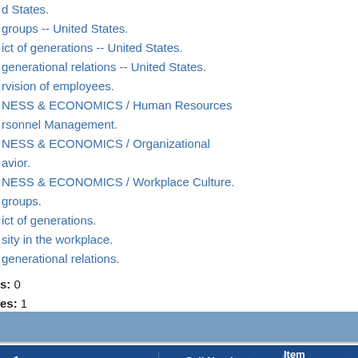d States.
groups -- United States.
ict of generations -- United States.
generational relations -- United States.
rvision of employees.
NESS & ECONOMICS / Human Resources
rsonnel Management.
NESS & ECONOMICS / Organizational
avior.
NESS & ECONOMICS / Workplace Culture.
groups.
ict of generations.
sity in the workplace.
generational relations.
s: 0
es: 1
← | Call Number → | Item Barcode →